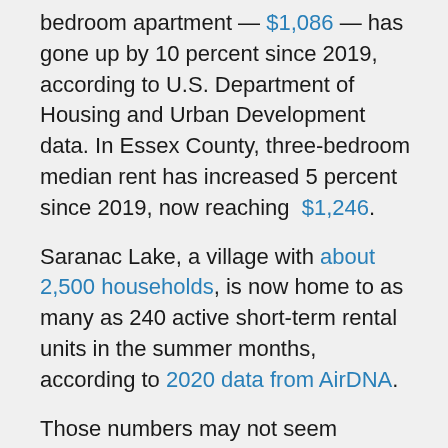bedroom apartment — $1,086 — has gone up by 10 percent since 2019, according to U.S. Department of Housing and Urban Development data. In Essex County, three-bedroom median rent has increased 5 percent since 2019, now reaching $1,246.
Saranac Lake, a village with about 2,500 households, is now home to as many as 240 active short-term rental units in the summer months, according to 2020 data from AirDNA.
Those numbers may not seem drastic, but Little and local residents say the lack of affordable rental housing in the area is a combination of many factors that have been building for years. Historic, aging buildings are expensive to maintain. There is little remaining land available to build new housing in the